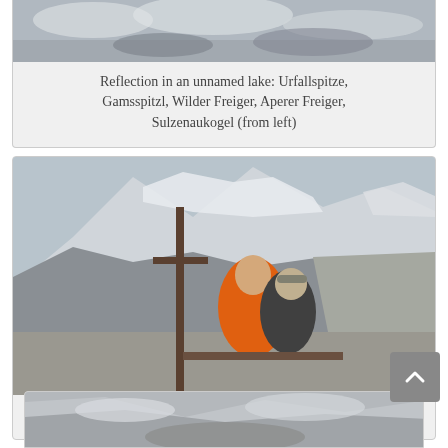[Figure (photo): Partial view of reflection in an unnamed lake showing mountain peaks (top of page, cropped)]
Reflection in an unnamed lake: Urfallspitze, Gamsspitzl, Wilder Freiger, Aperer Freiger, Sulzenaukogel (from left)
[Figure (photo): Two hikers sitting at a summit marker (Niederl) with glaciated mountain peaks in the background]
On the Niederl
[Figure (photo): Partial view of another mountain scene (bottom of page, cropped)]